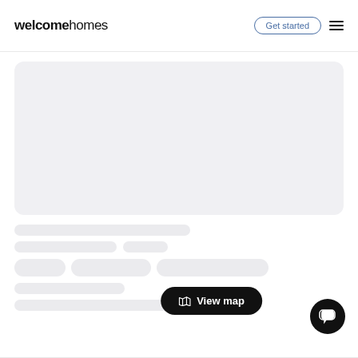welcomehomes — Get started
[Figure (screenshot): Loading skeleton screen of a WelcomeHomes property listing page with a large gray placeholder card, skeleton text lines, pill-shaped skeleton tags, a 'View map' button, and a chat bubble icon.]